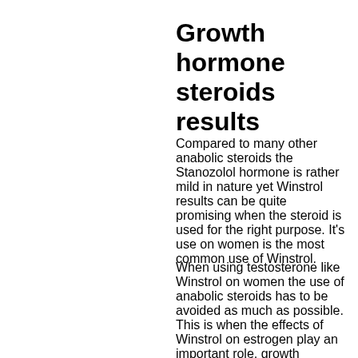Growth hormone steroids results
Compared to many other anabolic steroids the Stanozolol hormone is rather mild in nature yet Winstrol results can be quite promising when the steroid is used for the right purpose. It's use on women is the most common use of Winstrol.
When using testosterone like Winstrol on women the use of anabolic steroids has to be avoided as much as possible. This is when the effects of Winstrol on estrogen play an important role, growth hormone produced by.
Winstrol on Estrogen
Estrogen is the female hormone, growth hormone vs testosterone. During